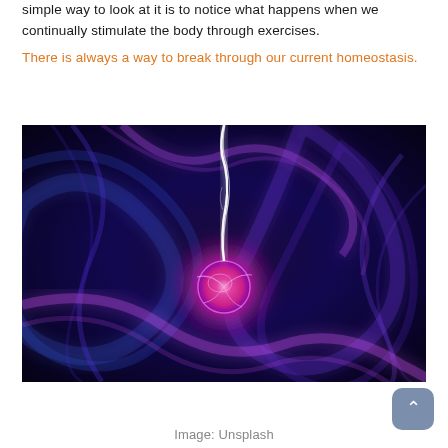simple way to look at it is to notice what happens when we continually stimulate the body through exercises. There is always a way to break through our current homeostasis.
[Figure (photo): A glowing plasma ball or electric sphere with bright pink/magenta orb in the center emitting a white electric arc upward, set against a dark blue and purple swirling background with electric tendrils.]
Image: Unsplash